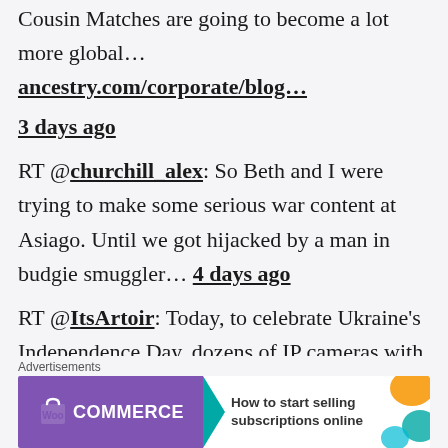Cousin Matches are going to become a lot more global… ancestry.com/corporate/blog… 3 days ago
RT @churchill_alex: So Beth and I were trying to make some serious war content at Asiago. Until we got hijacked by a man in budgie smuggler… 4 days ago
RT @ItsArtoir: Today, to celebrate Ukraine's Independence Day, dozens of IP cameras with speaker outputs have been hacked to play
[Figure (other): WooCommerce advertisement banner: purple left side with WooCommerce logo and teal arrow chevron, white right side with text 'How to start selling subscriptions online' and decorative colored shapes]